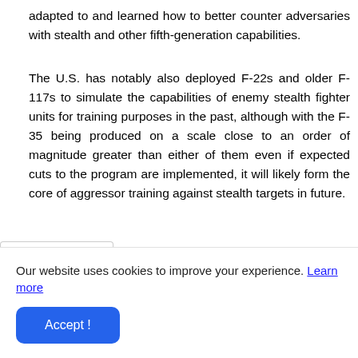adapted to and learned how to better counter adversaries with stealth and other fifth-generation capabilities.
The U.S. has notably also deployed F-22s and older F-117s to simulate the capabilities of enemy stealth fighter units for training purposes in the past, although with the F-35 being produced on a scale close to an order of magnitude greater than either of them even if expected cuts to the program are implemented, it will likely form the core of aggressor training against stealth targets in future.
Our website uses cookies to improve your experience. Learn more